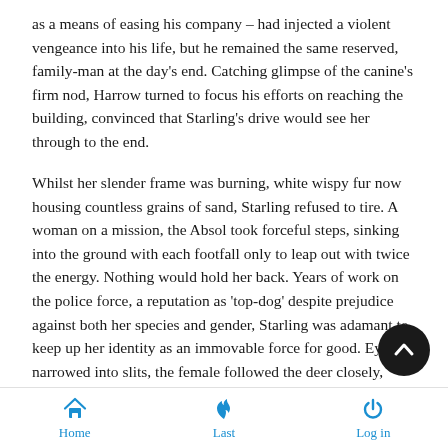as a means of easing his company – had injected a violent vengeance into his life, but he remained the same reserved, family-man at the day's end. Catching glimpse of the canine's firm nod, Harrow turned to focus his efforts on reaching the building, convinced that Starling's drive would see her through to the end.
Whilst her slender frame was burning, white wispy fur now housing countless grains of sand, Starling refused to tire. A woman on a mission, the Absol took forceful steps, sinking into the ground with each footfall only to leap out with twice the energy. Nothing would hold her back. Years of work on the police force, a reputation as 'top-dog' despite prejudice against both her species and gender, Starling was adamant to keep up her identity as an immovable force for good. Eyes narrowed into slits, the female followed the deer closely, peeking to the sid her companion's form to reassure herself that their haven w within distance. Her determination unfaltering, Starling
Home  Last  Log in